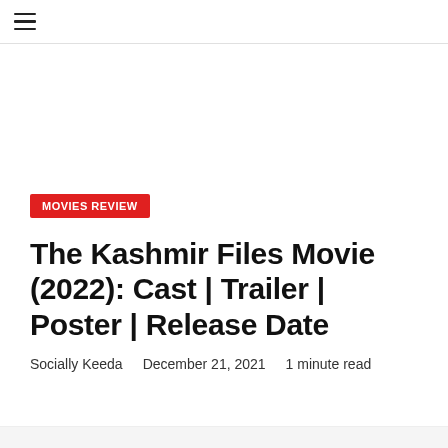≡
[Figure (other): Advertisement or blank space area]
MOVIES REVIEW
The Kashmir Files Movie (2022): Cast | Trailer | Poster | Release Date
Socially Keeda   December 21, 2021   1 minute read